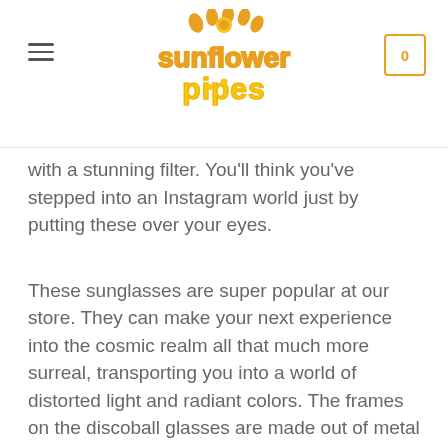Sunflower Pipes — navigation header with logo and cart
with a stunning filter. You'll think you've stepped into an Instagram world just by putting these over your eyes.
These sunglasses are super popular at our store. They can make your next experience into the cosmic realm all that much more surreal, transporting you into a world of distorted light and radiant colors. The frames on the discoball glasses are made out of metal so they feel good around your ears and comfortable on your face.
You never know when you're going to be needing some